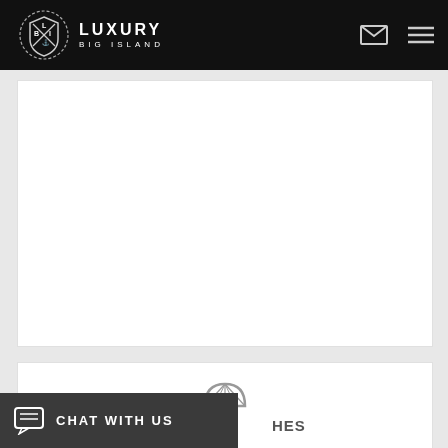LUXURY BIG ISLAND
[Figure (screenshot): Main white content area (empty/placeholder)]
[Figure (illustration): Beach umbrella / parasol icon in gray]
CHAT WITH US
HES